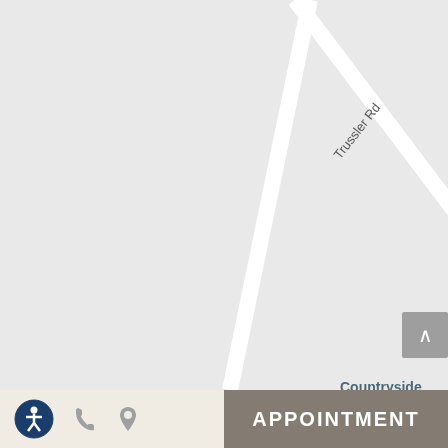[Figure (map): Google Maps screenshot showing Trussler Rd with a location pin for Countryside Boarding, Grooming &... on a light grey map background. The road runs diagonally from upper-left to lower-right. Road label 'Trussler Rd' appears multiple times along the road.]
[Figure (other): Bottom navigation bar with accessibility icon (person in circle, dark blue), phone icon (grey), location pin icon (grey) on a beige/cream background on the left half, and an 'APPOINTMENT' button in bold white text on a taupe/brown background on the right half.]